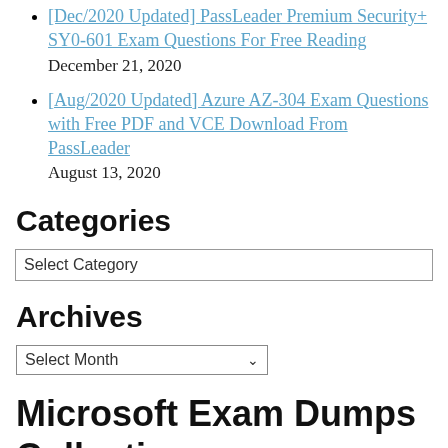[Dec/2020 Updated] PassLeader Premium Security+ SY0-601 Exam Questions For Free Reading
December 21, 2020
[Aug/2020 Updated] Azure AZ-304 Exam Questions with Free PDF and VCE Download From PassLeader
August 13, 2020
Categories
Select Category
Archives
Select Month
Microsoft Exam Dumps Collection